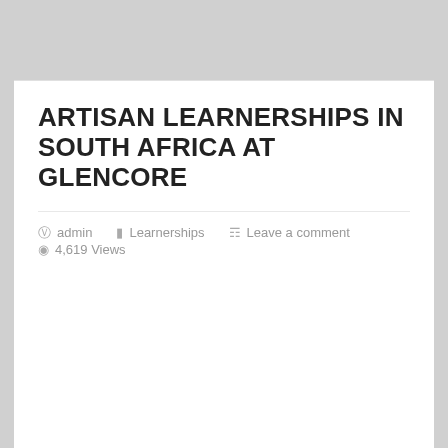ARTISAN LEARNERSHIPS IN SOUTH AFRICA AT GLENCORE
admin   Learnerships   Leave a comment   4,619 Views